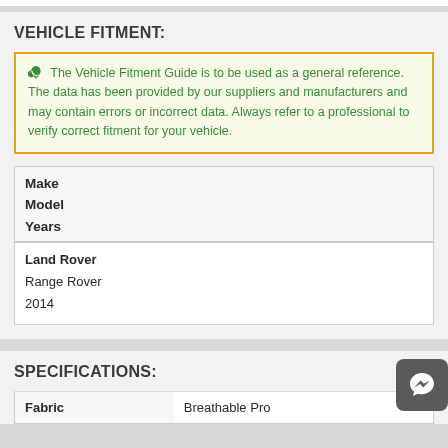VEHICLE FITMENT:
The Vehicle Fitment Guide is to be used as a general reference. The data has been provided by our suppliers and manufacturers and may contain errors or incorrect data. Always refer to a professional to verify correct fitment for your vehicle.
| Make | Model | Years |
| --- | --- | --- |
| Land Rover | Range Rover | 2014 |
SPECIFICATIONS:
| Fabric |  |
| --- | --- |
| Fabric | Breathable Pro |